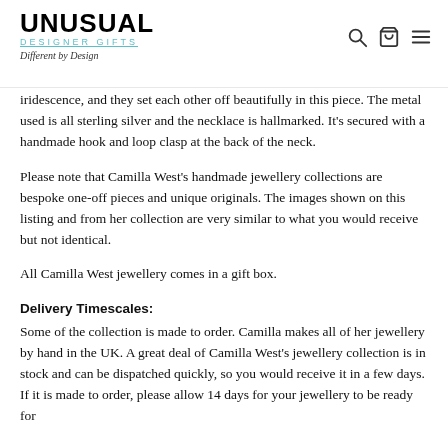UNUSUAL DESIGNER GIFTS — Different by Design
iridescence, and they set each other off beautifully in this piece. The metal used is all sterling silver and the necklace is hallmarked. It's secured with a handmade hook and loop clasp at the back of the neck.
Please note that Camilla West's handmade jewellery collections are bespoke one-off pieces and unique originals. The images shown on this listing and from her collection are very similar to what you would receive but not identical.
All Camilla West jewellery comes in a gift box.
Delivery Timescales:
Some of the collection is made to order. Camilla makes all of her jewellery by hand in the UK. A great deal of Camilla West's jewellery collection is in stock and can be dispatched quickly, so you would receive it in a few days. If it is made to order, please allow 14 days for your jewellery to be ready for